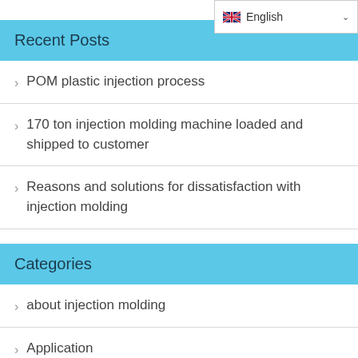Recent Posts
POM plastic injection process
170 ton injection molding machine loaded and shipped to customer
Reasons and solutions for dissatisfaction with injection molding
Categories
about injection molding
Application